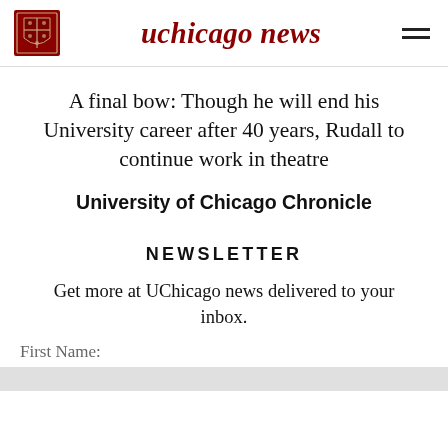uchicago news
A final bow: Though he will end his University career after 40 years, Rudall to continue work in theatre
University of Chicago Chronicle
NEWSLETTER
Get more at UChicago news delivered to your inbox.
First Name: